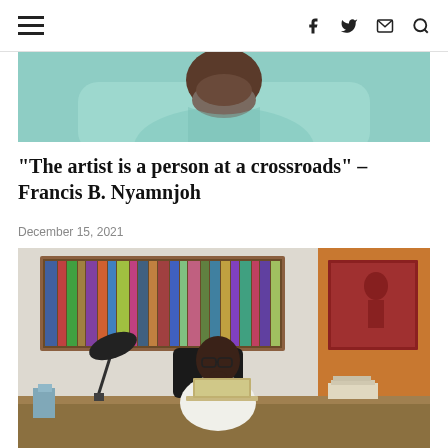Navigation header with hamburger menu and social icons (f, twitter, email, search)
[Figure (photo): Close-up photo of a person wearing a light blue/teal shirt, cropped to show torso and lower face with gray beard]
“The artist is a person at a crossroads” – Francis B. Nyamnjoh
December 15, 2021
[Figure (photo): Photo of Francis B. Nyamnjoh sitting at a desk with a laptop, bookshelves in background, a red/brown artwork hanging on the wall, lamp on the left, desk with papers and items]